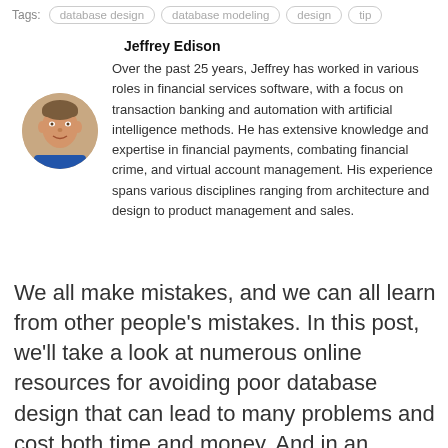Tags: database design  database modeling  design  tip
Jeffrey Edison
Over the past 25 years, Jeffrey has worked in various roles in financial services software, with a focus on transaction banking and automation with artificial intelligence methods. He has extensive knowledge and expertise in financial payments, combating financial crime, and virtual account management. His experience spans various disciplines ranging from architecture and design to product management and sales.
We all make mistakes, and we can all learn from other people's mistakes. In this post, we'll take a look at numerous online resources for avoiding poor database design that can lead to many problems and cost both time and money. And in an upcoming article, we'll tell you where to find tips and best